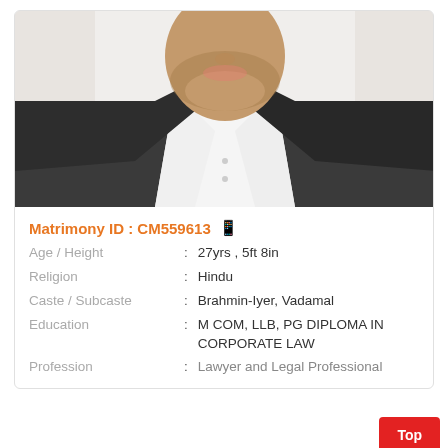[Figure (photo): Portrait photo of a man in a dark suit jacket and white dress shirt, partial face visible from chin down, against a light background.]
Matrimony ID : CM559613 📱
Age / Height : 27yrs , 5ft 8in
Religion : Hindu
Caste / Subcaste : Brahmin-Iyer, Vadamal
Education : M COM, LLB, PG DIPLOMA IN CORPORATE LAW
Profession : Lawyer and Legal Professional